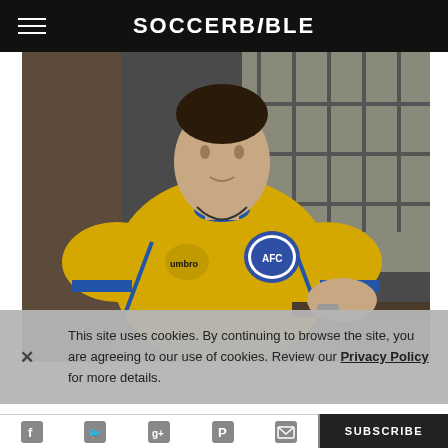SOCCERBIBLE
[Figure (photo): Young man wearing a yellow AFC Umbro soccer jersey with blue accents, leaning against a railing in an industrial setting with window bars in background]
This site uses cookies. By continuing to browse the site, you are agreeing to our use of cookies. Review our Privacy Policy for more details.
[Figure (infographic): Social sharing icon bar with Twitter, Google+, Pinterest, and email icons]
SUBSCRIBE